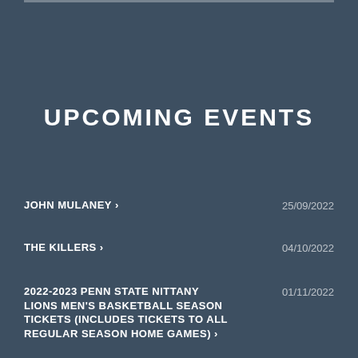UPCOMING EVENTS
JOHN MULANEY › 25/09/2022
THE KILLERS › 04/10/2022
2022-2023 PENN STATE NITTANY LIONS MEN'S BASKETBALL SEASON TICKETS (INCLUDES TICKETS TO ALL REGULAR SEASON HOME GAMES) › 01/11/2022